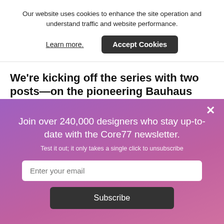Our website uses cookies to enhance the site operation and understand traffic and website performance.
Learn more.
Accept Cookies
We're kicking off the series with two posts—on the pioneering Bauhaus metalworker Marianne
× Join over 240,000 designers who stay up-to-date with the Core77 newsletter. Test it out; it only takes a single click to unsubscribe
Enter your email
Subscribe